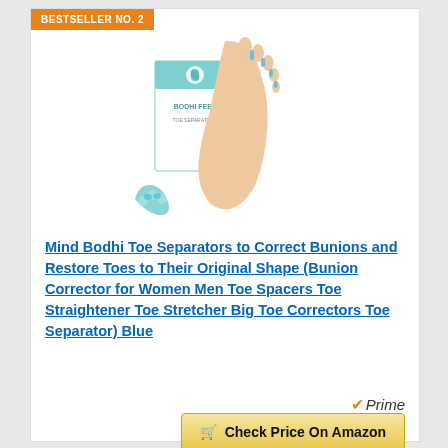BESTSELLER NO. 2
[Figure (photo): Product photo showing a human foot with blue toe separators/spreaders between the toes, alongside a white and teal product box labeled 'BODHI FEET' and a standalone blue toe separator device in front.]
Mind Bodhi Toe Separators to Correct Bunions and Restore Toes to Their Original Shape (Bunion Corrector for Women Men Toe Spacers Toe Straightener Toe Stretcher Big Toe Correctors Toe Separator) Blue
Prime
Check Price On Amazon